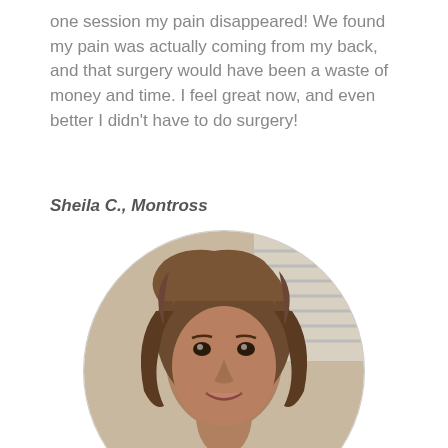one session my pain disappeared! We found my pain was actually coming from my back, and that surgery would have been a waste of money and time. I feel great now, and even better I didn't have to do surgery!
Sheila C., Montross
[Figure (photo): Circular portrait photo of a middle-aged woman with shoulder-length wavy brown/gray hair, smiling, wearing a dark top, with a beige wall and window blinds visible in the background.]